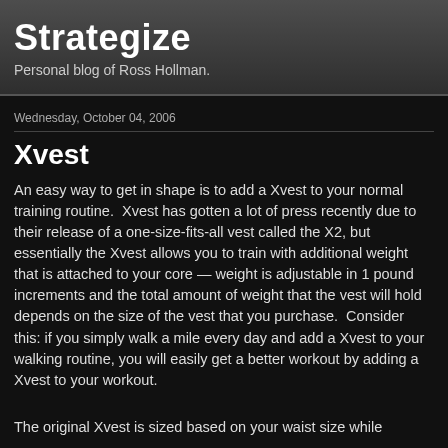Strategize
Personal blog of Ross Hollman.
Wednesday, October 04, 2006
Xvest
An easy way to get in shape is to add a Xvest to your normal training routine.  Xvest has gotten a lot of press recently due to their release of a one-size-fits-all vest called the X2, but essentially the Xvest allows you to train with additional weight that is attached to your core — weight is adjustable in 1 pound increments and the total amount of weight that the vest will hold depends on the size of the vest that you purchase.  Consider this: if you simply walk a mile every day and add a Xvest to your walking routine, you will easily get a better workout by adding a Xvest to your workout.
The original Xvest is sized based on your waist size while